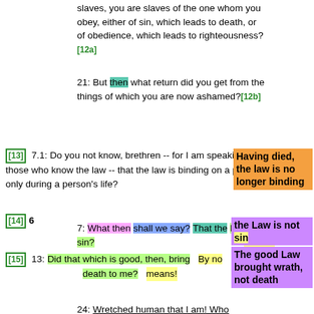slaves, you are slaves of the one whom you obey, either of sin, which leads to death, or of obedience, which leads to righteousness?[12a]
21: But then what return did you get from the things of which you are now ashamed?[12b]
[13] 7.1: Do you not know, brethren -- for I am speaking to those who know the law -- that the law is binding on a person only during a person's life?
Having died, the law is no longer binding
[14]6
7: What then shall we say? That the law is sin?
By no means!
the Law is not sin
[15] 13: Did that which is good, then, bring death to me?
By no means!
The good Law brought wrath, not death
24: Wretched human that I am! Who